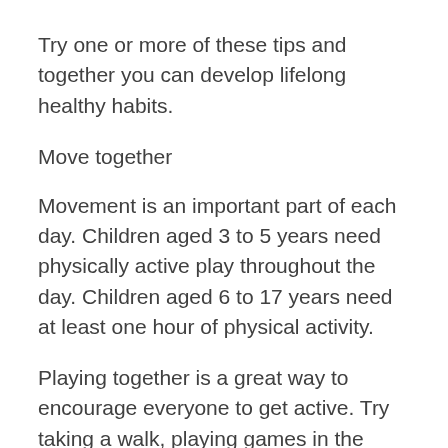Try one or more of these tips and together you can develop lifelong healthy habits.
Move together
Movement is an important part of each day. Children aged 3 to 5 years need physically active play throughout the day. Children aged 6 to 17 years need at least one hour of physical activity.
Playing together is a great way to encourage everyone to get active. Try taking a walk, playing games in the backyard, visiting a local park, or turning on some music for a dance party. These are all fun ways to make physical activity a routine highlight of your child's day.